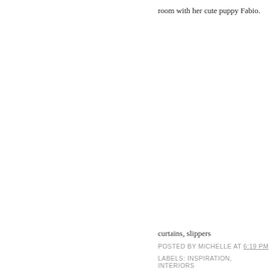room with her cute puppy Fabio.
curtains, slippers
POSTED BY MICHELLE AT 6:19 PM
LABELS: INSPIRATION, INTERIORS